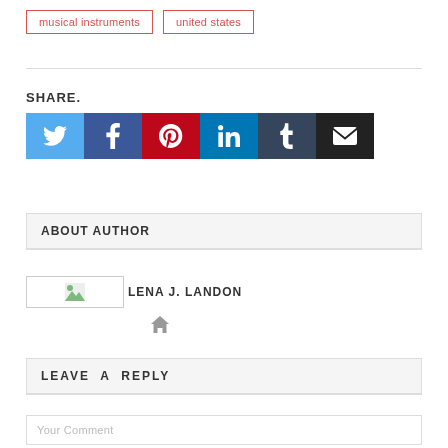musical instruments
united states
SHARE.
[Figure (infographic): Social share buttons: Twitter (blue), Facebook (dark blue), Pinterest (red), LinkedIn (light blue), Tumblr (dark navy), Email (dark/black)]
ABOUT AUTHOR
LENA J. LANDON
[Figure (infographic): Home/website icon for author]
LEAVE  A  REPLY
Your Comment